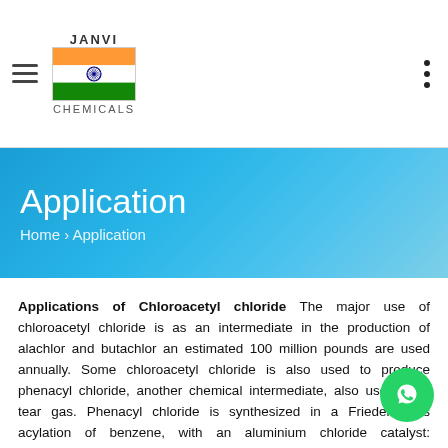JANVI CHEMICALS
Application
Home › Application
Applications of Chloroacetyl chloride The major use of chloroacetyl chloride is as an intermediate in the production of alachlor and butachlor an estimated 100 million pounds are used annually. Some chloroacetyl chloride is also used to produce phenacyl chloride, another chemical intermediate, also used as a tear gas. Phenacyl chloride is synthesized in a Friedel-Crafts acylation of benzene, with an aluminium chloride catalyst: Applications of Monochloroacetic acid The major industrial use of monochloroacetic acid (MCA) is in the manufacture of carboxymethyl cellulose (CMC). CMC is used in a broad range of applications, including detergents, food, tiles, coatings, drilling muds, pharmaceuticals and cosmetics. Other MCA is used in the manufacture of a wide variety of other useful chemical compounds. Pharmaceuticals Monochloroacetic acid is used